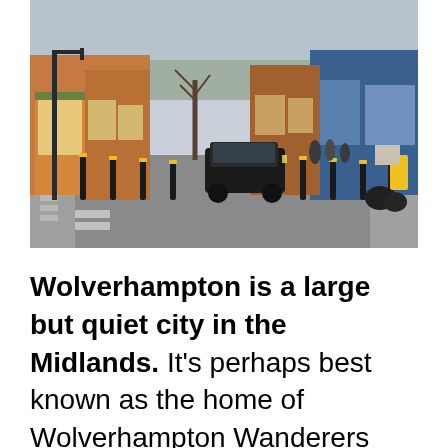[Figure (photo): Street scene in Wolverhampton showing a road with bollards, parked cars, shops and terraced houses on either side, bare trees visible in the background.]
Wolverhampton is a large but quiet city in the Midlands. It's perhaps best known as the home of Wolverhampton Wanderers FC. and the famous Molineux Stadium. While Wolverhampton doesn't have the cachet of